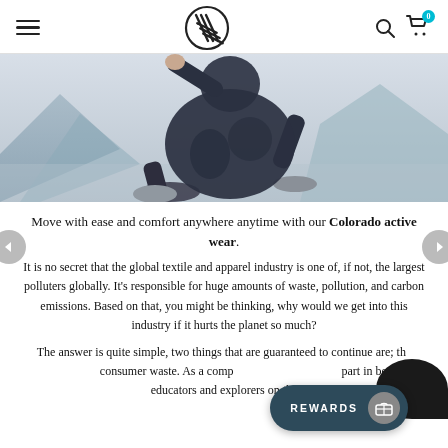Navigation header with hamburger menu, logo, search and cart icons
[Figure (photo): Woman running/leaping mid-air wearing dark patterned athletic leggings and sneakers, outdoor background with mountains]
Move with ease and comfort anywhere anytime with our Colorado active wear.
It is no secret that the global textile and apparel industry is one of, if not, the largest polluters globally. It's responsible for huge amounts of waste, pollution, and carbon emissions. Based on that, you might be thinking, why would we get into this industry if it hurts the planet so much?
The answer is quite simple, two things that are guaranteed to continue are; the population and consumer waste. As a company we want to play a part in becoming educators and explorers on the